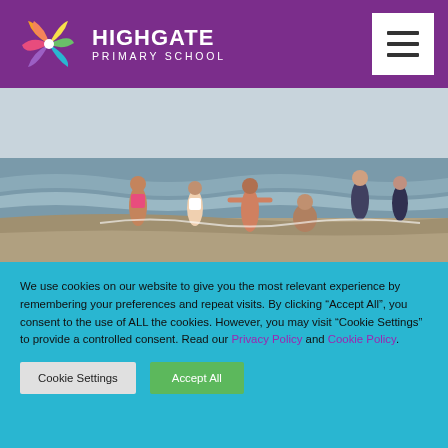HIGHGATE PRIMARY SCHOOL
[Figure (photo): Children playing at the beach shoreline, running and splashing in the water]
We use cookies on our website to give you the most relevant experience by remembering your preferences and repeat visits. By clicking “Accept All”, you consent to the use of ALL the cookies. However, you may visit “Cookie Settings” to provide a controlled consent. Read our Privacy Policy and Cookie Policy.